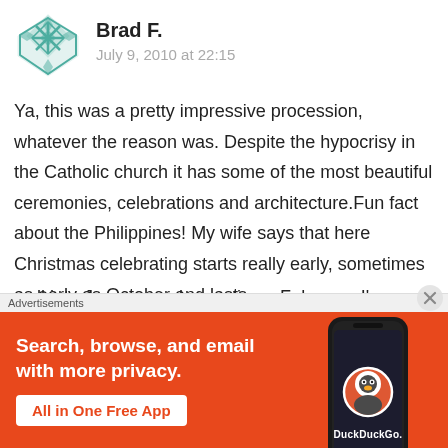[Figure (illustration): Teal/green geometric avatar icon for user Brad F.]
Brad F.
July 9, 2010 at 22:15
Ya, this was a pretty impressive procession, whatever the reason was. Despite the hypocrisy in the Catholic church it has some of the most beautiful ceremonies, celebrations and architecture.Fun fact about the Philippines! My wife says that here Christmas celebrating starts really early, sometimes as early as October and lasts well into January and sometimes February. I'm
Advertisements
[Figure (infographic): DuckDuckGo advertisement banner on orange background. Text reads: Search, browse, and email with more privacy. All in One Free App. Shows a phone with DuckDuckGo logo.]